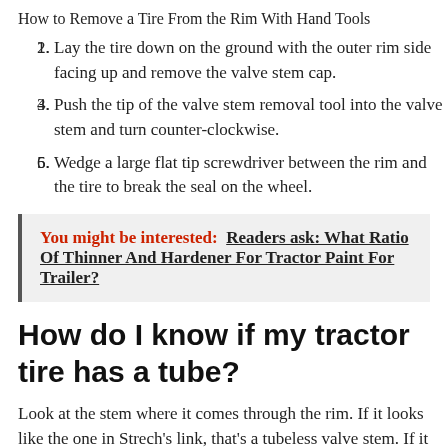How to Remove a Tire From the Rim With Hand Tools
Lay the tire down on the ground with the outer rim side facing up and remove the valve stem cap.
Push the tip of the valve stem removal tool into the valve stem and turn counter-clockwise.
Wedge a large flat tip screwdriver between the rim and the tire to break the seal on the wheel.
You might be interested: Readers ask: What Ratio Of Thinner And Hardener For Tractor Paint For Trailer?
How do I know if my tractor tire has a tube?
Look at the stem where it comes through the rim. If it looks like the one in Strech's link, that's a tubeless valve stem. If it is